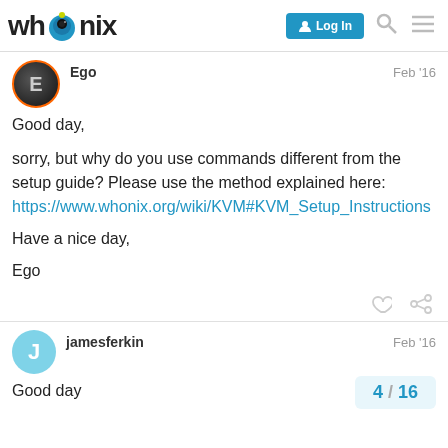Whonix — Log In
Ego
Feb '16

Good day,

sorry, but why do you use commands different from the setup guide? Please use the method explained here:
https://www.whonix.org/wiki/KVM#KVM_Setup_Instructions

Have a nice day,

Ego
jamesferkin
Feb '16

Good day
4 / 16